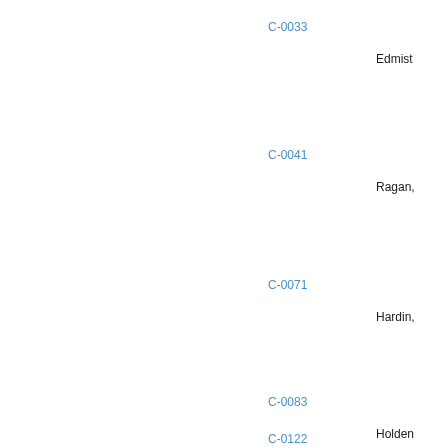C-0033
Edmist
C-0041
Ragan,
C-0071
Hardin,
C-0083
Holden
C-0122